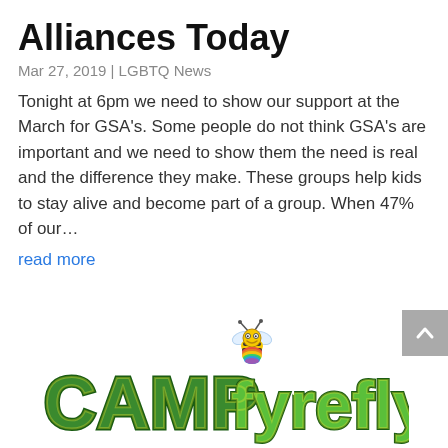Alliances Today
Mar 27, 2019 | LGBTQ News
Tonight at 6pm we need to show our support at the March for GSA's. Some people do not think GSA's are important and we need to show them the need is real and the difference they make. These groups help kids to stay alive and become part of a group. When 47% of our…
read more
[Figure (logo): Camp Fyrefly logo with a cartoon bee sitting on top of colorful striped letters spelling 'CAMP fyrefly' in green with yellow outline]